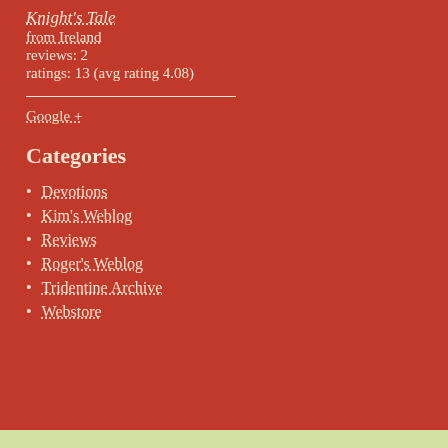Knight's Tale
from Ireland
reviews: 2
ratings: 13 (avg rating 4.08)
Google +
Categories
Devotions
Kim's Weblog
Reviews
Roger's Weblog
Tridentine Archive
Webstore